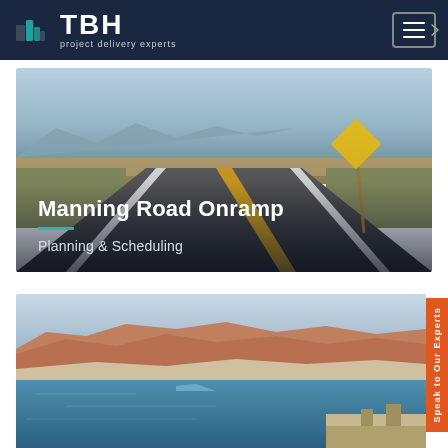TBH — project delivery experts
Manning Road Onramp
Planning & Scheduling
[Figure (photo): Straight desert highway with yellow center lines converging to horizon, mountains in background, yellow road sign on the right]
[Figure (photo): Aerial view of red rock canyon landscape with blue lake/reservoir and a dam or bridge structure in the lower right]